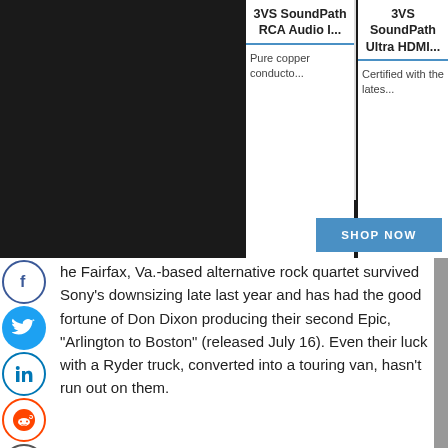[Figure (screenshot): Dark background ad/product area with two product columns showing '3VS SoundPath RCA Audio I...' and '3VS SoundPath Ultra HDMI...' with descriptions and a blue 'SHOP NOW' button]
he Fairfax, Va.-based alternative rock quartet survived Sony's downsizing late last year and has had the good fortune of Don Dixon producing their second Epic, "Arlington to Boston" (released July 16). Even their luck with a Ryder truck, converted into a touring van, hasn't run out on them.
Since playing to 1,200 people at a CD release party in Washington, D.C., singer Todd Watts and his band mates – guitarist Erik Wenberg, bassist Luke Michel and drummer Tamer Eid – have trekked across America in search of wider